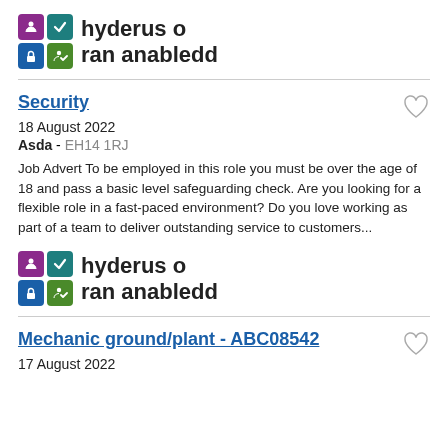[Figure (logo): Hyderus o ran anabledd (Disability Confident) logo with four colored icon squares and bold text]
Security
18 August 2022
Asda - EH14 1RJ
Job Advert To be employed in this role you must be over the age of 18 and pass a basic level safeguarding check. Are you looking for a flexible role in a fast-paced environment? Do you love working as part of a team to deliver outstanding service to customers...
[Figure (logo): Hyderus o ran anabledd (Disability Confident) logo with four colored icon squares and bold text]
Mechanic ground/plant - ABC08542
17 August 2022